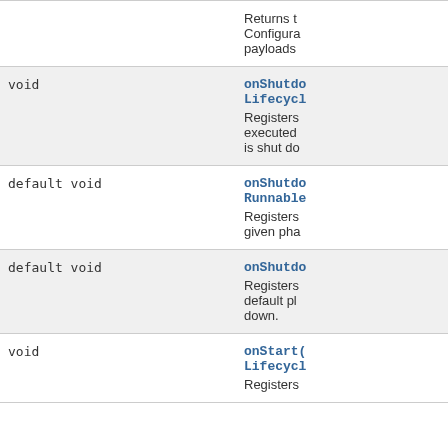| Type | Method/Description |
| --- | --- |
|  | Returns t…
Configura…
payloads |
| void | onShutdo…
Lifecycl…
Registers…
executed…
is shut do… |
| default void | onShutdo…
Runnable…
Registers…
given pha… |
| default void | onShutdo…
Registers…
default pl…
down. |
| void | onStart(…
Lifecycl…
Registers |